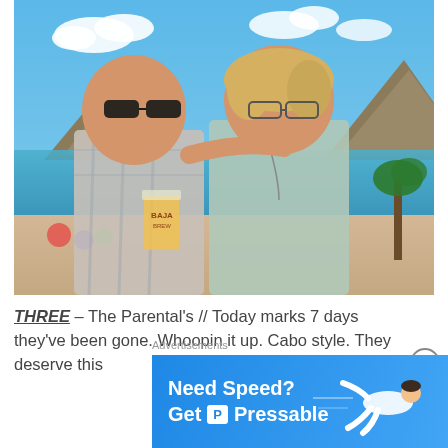[Figure (photo): A couple posing outdoors in Cabo San Lucas, Mexico. The man on the left is wearing a plaid shirt and sunglasses, holding a Baja beer glass. The woman on the right has blonde hair and glasses, wearing a teal sleeveless top. Behind them is a scenic view of the ocean, mountains, beach and palm trees.]
THREE – The Parental's // Today marks 7 days they've been gone. Whoopin it up. Cabo style. They deserve this
[Figure (infographic): Advertisement banner for Pressable hosting with text 'Need Speed? Get Pressable' on a blue background with a illustrated person flying horizontally.]